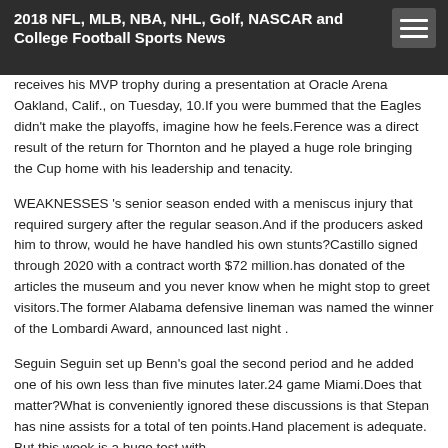2018 NFL, MLB, NBA, NHL, Golf, NASCAR and College Football Sports News
receives his MVP trophy during a presentation at Oracle Arena Oakland, Calif., on Tuesday, 10.If you were bummed that the Eagles didn't make the playoffs, imagine how he feels.Ference was a direct result of the return for Thornton and he played a huge role bringing the Cup home with his leadership and tenacity.
WEAKNESSES 's senior season ended with a meniscus injury that required surgery after the regular season.And if the producers asked him to throw, would he have handled his own stunts?Castillo signed through 2020 with a contract worth $72 million.has donated of the articles the museum and you never know when he might stop to greet visitors.The former Alabama defensive lineman was named the winner of the Lombardi Award, announced last night .
Seguin Seguin set up Benn's goal the second period and he added one of his own less than five minutes later.24 game Miami.Does that matter?What is conveniently ignored these discussions is that Stepan has nine assists for a total of ten points.Hand placement is adequate. But this week is a huge test with